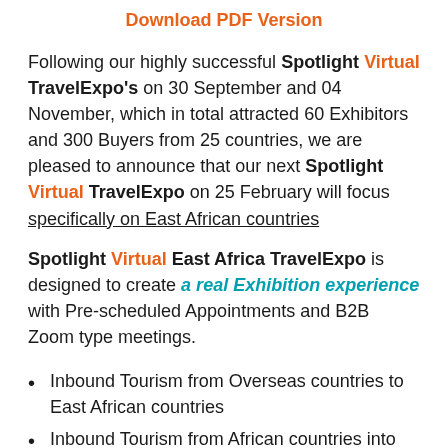Download PDF Version
Following our highly successful Spotlight Virtual TravelExpo's on 30 September and 04 November, which in total attracted 60 Exhibitors and 300 Buyers from 25 countries, we are pleased to announce that our next Spotlight Virtual TravelExpo on 25 February will focus specifically on East African countries
Spotlight Virtual East Africa TravelExpo is designed to create a real Exhibition experience with Pre-scheduled Appointments and B2B Zoom type meetings.
Inbound Tourism from Overseas countries to East African countries
Inbound Tourism from African countries into East